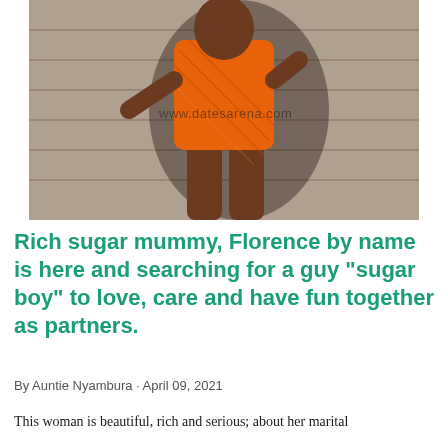[Figure (photo): A woman wearing an orange patterned shirt dress posing outdoors with a concrete slab background. Watermark reads www.datesarena.com]
Rich sugar mummy, Florence by name is here and searching for a guy “sugar boy” to love, care and have fun together as partners.
By Auntie Nyambura · April 09, 2021
This woman is beautiful, rich and serious; about her marital